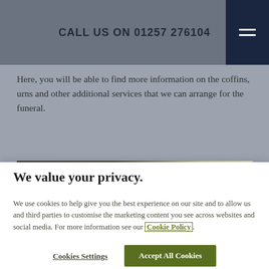CALL US ON 01257 276104
Here, you will be able to find more information on the coffins, urns and other additional services that we can arrange for the funeral.
[Figure (photo): A dark photograph showing white flowers (lilies/orchids) against a dark background, likely a funeral arrangement.]
We value your privacy.
We use cookies to help give you the best experience on our site and to allow us and third parties to customise the marketing content you see across websites and social media. For more information see our Cookie Policy.
Cookies Settings    Accept All Cookies